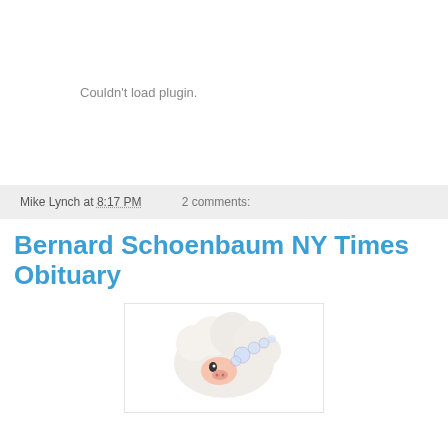[Figure (other): Plugin placeholder area showing 'Couldn't load plugin.' message]
Mike Lynch at 8:17 PM   2 comments:
Bernard Schoenbaum NY Times Obituary
[Figure (illustration): Cartoon illustration of a sheep or woolly animal, partially visible at bottom of page]